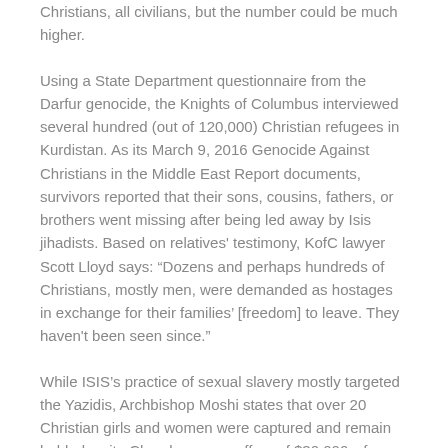Christians, all civilians, but the number could be much higher.
Using a State Department questionnaire from the Darfur genocide, the Knights of Columbus interviewed several hundred (out of 120,000) Christian refugees in Kurdistan. As its March 9, 2016 Genocide Against Christians in the Middle East Report documents, survivors reported that their sons, cousins, fathers, or brothers went missing after being led away by Isis jihadists. Based on relatives' testimony, KofC lawyer Scott Lloyd says: “Dozens and perhaps hundreds of Christians, mostly men, were demanded as hostages in exchange for their families’ [freedom] to leave. They haven't been seen since.”
While ISIS’s practice of sexual slavery mostly targeted the Yazidis, Archbishop Moshi states that over 20 Christian girls and women were captured and remain held, despite Church ransom offers of $30,000—far above the slave prices on the